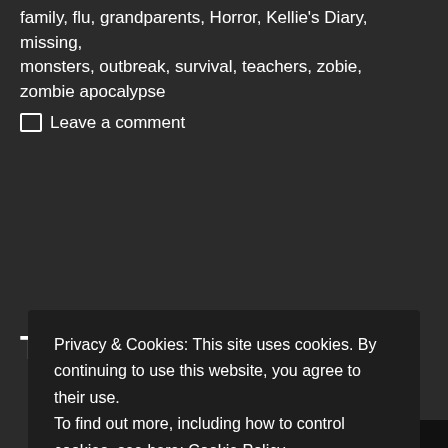family, flu, grandparents, Horror, Kellie's Diary, missing, monsters, outbreak, survival, teachers, zobie, zombie apocalypse
Leave a comment
The Walking Dead:
Privacy & Cookies: This site uses cookies. By continuing to use this website, you agree to their use.
To find out more, including how to control cookies, see here: Cookie Policy
Close and accept